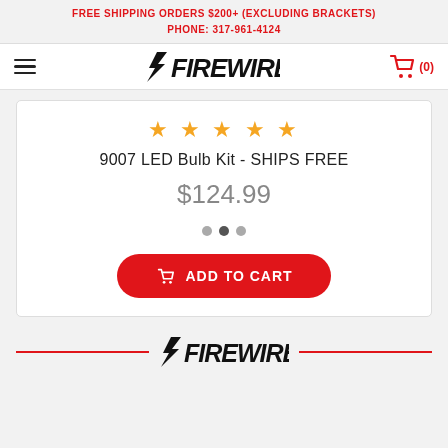FREE SHIPPING ORDERS $200+ (EXCLUDING BRACKETS)
PHONE: 317-961-4124
[Figure (logo): Firewire logo with lightning bolt icon, stylized italic bold text]
★★★★★
9007 LED Bulb Kit - SHIPS FREE
$124.99
ADD TO CART
[Figure (logo): Firewire footer logo with red horizontal lines on either side]